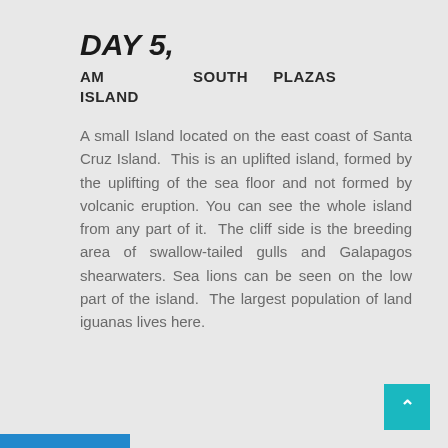DAY 5,
AM      SOUTH  PLAZAS ISLAND
A small Island located on the east coast of Santa Cruz Island. This is an uplifted island, formed by the uplifting of the sea floor and not formed by volcanic eruption. You can see the whole island from any part of it. The cliff side is the breeding area of swallow-tailed gulls and Galapagos shearwaters. Sea lions can be seen on the low part of the island. The largest population of land iguanas lives here.